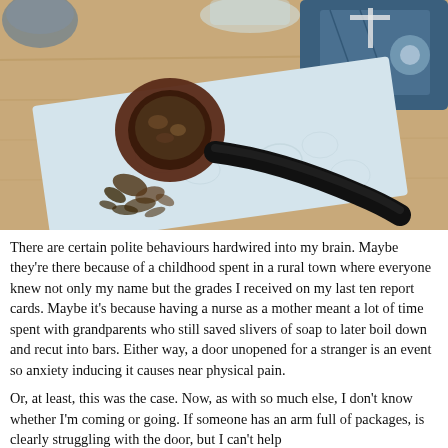[Figure (photo): A wooden tobacco pipe resting on a light blue embossed napkin or cloth, with loose tobacco leaves scattered below. A glass and a blue decorative cushion are visible in the background on a wooden surface.]
There are certain polite behaviours hardwired into my brain. Maybe they're there because of a childhood spent in a rural town where everyone knew not only my name but the grades I received on my last ten report cards. Maybe it's because having a nurse as a mother meant a lot of time spent with grandparents who still saved slivers of soap to later boil down and recut into bars. Either way, a door unopened for a stranger is an event so anxiety inducing it causes near physical pain.
Or, at least, this was the case. Now, as with so much else, I don't know whether I'm coming or going. If someone has an arm full of packages, is clearly struggling with the door, but I can't help